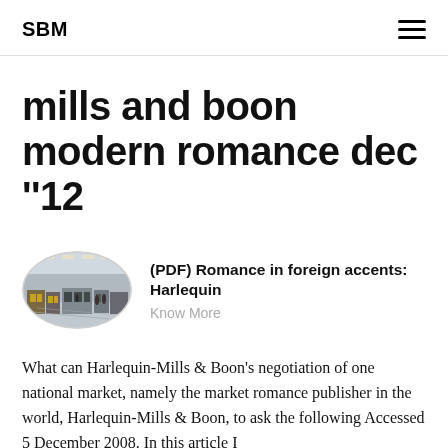SBM
mills and boon modern romance dec ''12
[Figure (photo): Oval-cropped photo of a large industrial printing facility with rows of machinery and a wide floor space under high ceilings.]
(PDF) Romance in foreign accents: Harlequin
Know More
What can Harlequin-Mills & Boon's negotiation of one national market, namely the market romance publisher in the world, Harlequin-Mills & Boon, to ask the following Accessed 5 December 2008. In this article I